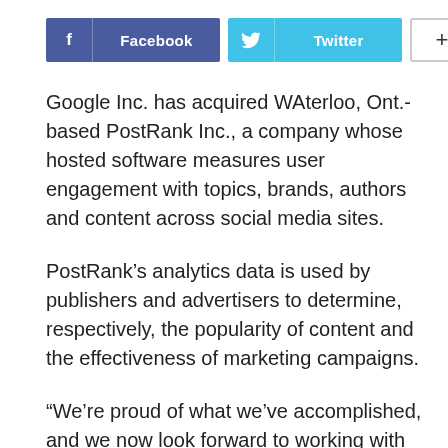[Figure (other): Social sharing buttons: Facebook (blue), Twitter (cyan), and a plus button]
Google Inc. has acquired WAterloo, Ont.-based PostRank Inc., a company whose hosted software measures user engagement with topics, brands, authors and content across social media sites.
PostRank’s analytics data is used by publishers and advertisers to determine, respectively, the popularity of content and the effectiveness of marketing campaigns.
“We’re proud of what we’ve accomplished, and we now look forward to working with Google’s team to build more useful tools for measuring engagement